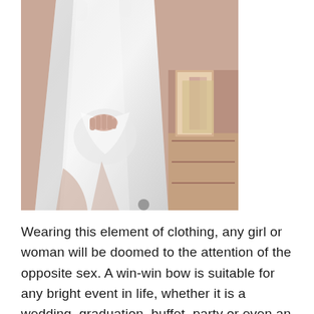[Figure (photo): A woman wearing a white satin/silk dress, holding the hem of the dress slightly, standing near a dresser with framed artwork visible in the background. Only the torso and legs are visible, not the face.]
Wearing this element of clothing, any girl or woman will be doomed to the attention of the opposite sex. A win-win bow is suitable for any bright event in life, whether it is a wedding, graduation, buffet, party or even an ordinary walk with loved ones. The biggest plus of such an outfit is that it does not